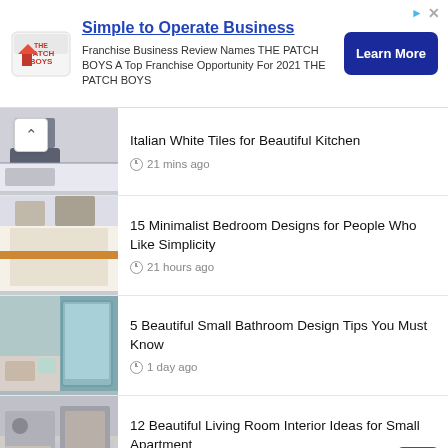[Figure (advertisement): Ad banner for The Patch Boys franchise. Logo on left, headline 'Simple to Operate Business', body text, and 'Learn More' button.]
Italian White Tiles for Beautiful Kitchen
21 mins ago
15 Minimalist Bedroom Designs for People Who Like Simplicity
21 hours ago
5 Beautiful Small Bathroom Design Tips You Must Know
1 day ago
12 Beautiful Living Room Interior Ideas for Small Apartment
3 days ago
Warm and Comfortable, These are 5 Advantages